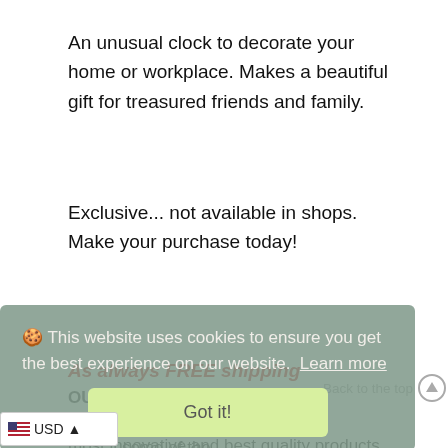An unusual clock to decorate your home or workplace. Makes a beautiful gift for treasured friends and family.
Exclusive... not available in shops. Make your purchase today!
As always FREE shipping
🍪 This website uses cookies to ensure you get the best experience on our website. Learn more
Got it!
Back to the top
OUR GUARANTEE
🏳 USD ^ e do believe we provide some of the most innovative and best quality products